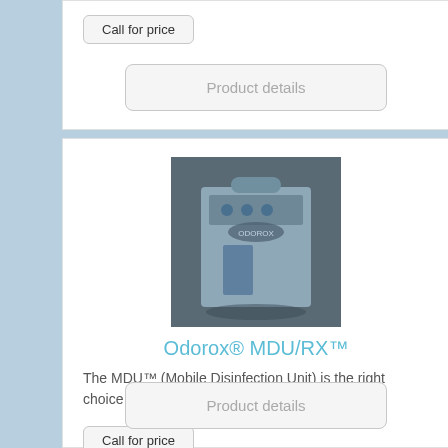Call for price
Product details
[Figure (photo): Photo of Odorox MDU/RX device — a grey/blue metal box with handle and control panel]
Odorox® MDU/RX™
The MDU™ (Mobile Disinfection Unit) is the right choice for ...
Call for price
Product details